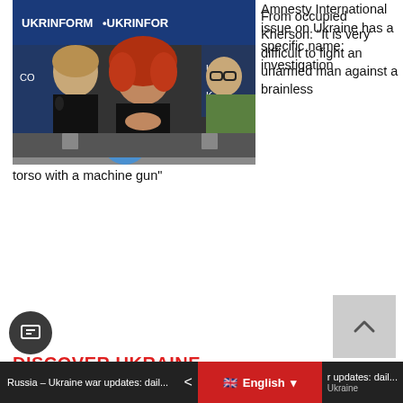[Figure (photo): Photo of a blue cylindrical pillar with a yellow symbol painted on it, street scene with trees and buildings in background]
From occupied Kherson: “It is very difficult to fight an unarmed man against a brainless torso with a machine gun”
[Figure (photo): Photo of two women at a press conference with Ukrinform backdrop. A woman with red curly hair in center, another woman with microphone on left.]
Amnesty International issue on Ukraine has a specific name: investigation
DISCOVER UKRAINE
Russia – Ukraine war updates: dail... < English ▾ r updates: dail... Ukraine